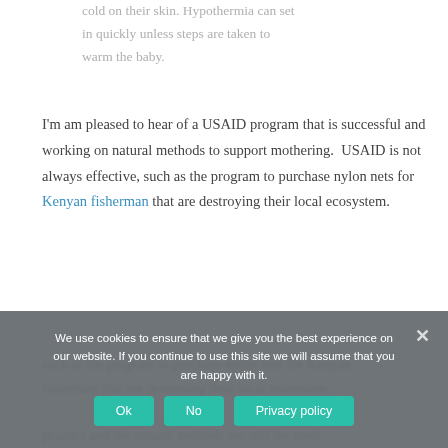cold on their skin. Hypothermia can set in quickly unless steps are taken to warm the baby.
I'm am pleased to hear of a USAID program that is successful and working on natural methods to support mothering. USAID is not always effective, such as the program to purchase nylon nets for Kenyan fisherman that are destroying their local ecosystem.
We use cookies to ensure that we give you the best experience on our website. If you continue to use this site we will assume that you are happy with it.